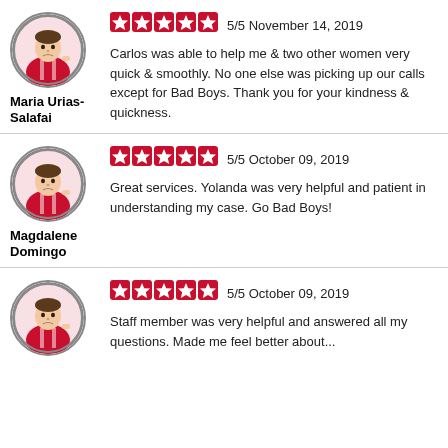[Figure (illustration): Cartoon avatar of a man in a circular badge for Maria Urias-Salafai]
Maria Urias-Salafai
[Figure (other): 5 red star rating icons]
5/5 November 14, 2019
Carlos was able to help me & two other women very quick & smoothly. No one else was picking up our calls except for Bad Boys. Thank you for your kindness & quickness.
[Figure (illustration): Cartoon avatar of a man in a circular badge for Magdalene Domingo]
Magdalene Domingo
[Figure (other): 5 red star rating icons]
5/5 October 09, 2019
Great services. Yolanda was very helpful and patient in understanding my case. Go Bad Boys!
[Figure (illustration): Cartoon avatar of a man in a circular badge for third reviewer]
[Figure (other): 5 red star rating icons]
5/5 October 09, 2019
Staff member was very helpful and answered all my questions. Made me feel better about...